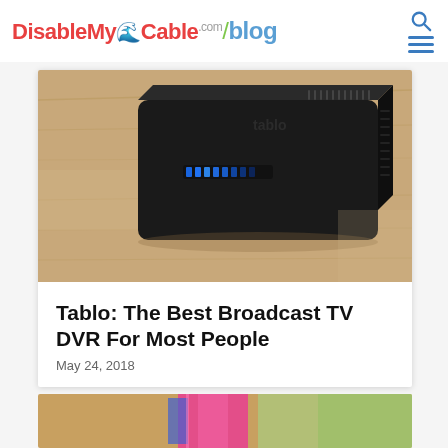DisableMyCable.com/blog
[Figure (photo): Photo of a black Tablo DVR device sitting on a wood surface, with blue LED lights visible on the front.]
Tablo: The Best Broadcast TV DVR For Most People
May 24, 2018
[Figure (photo): Partial photo of a colorful product box, blurred green background, sitting on a wooden surface.]